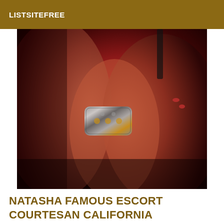LISTSITEFREE
[Figure (photo): Close-up photo of a person's torso and arms under red ambient lighting, wearing a decorative metallic bracelet/cuff and a dark bra strap visible on shoulder.]
NATASHA FAMOUS ESCORT COURTESAN CALIFORNIA